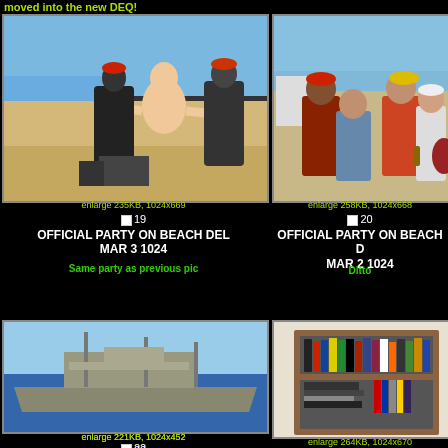moved into the new DEQ!
[Figure (photo): Beach party photo with people on the beach, shirtless man with arms spread]
enlarge 235KB, 1024x669
19
OFFICIAL PARTY ON BEACH DEL MAR 3 1024
Same party as previous pic
[Figure (photo): Group of people talking on the beach, men with caps]
enlarge 258KB, 1024x668
20
OFFICIAL PARTY ON BEACH DEL MAR 2 1024
Ditto
[Figure (photo): Naval ship side shot at sea]
enlarge 221KB, 1024x452
22
OE2 SIDE SHOT 1024
[Figure (photo): Record albums stored in a wooden shelf unit]
enlarge 264KB, 1024x670
23